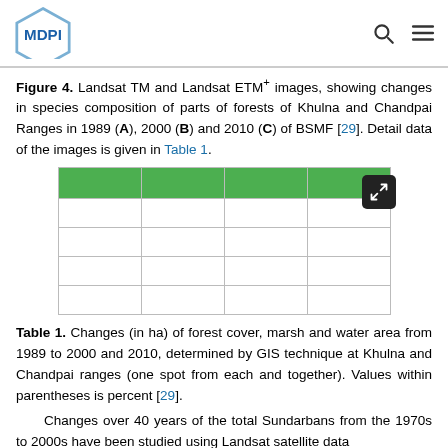MDPI
Figure 4. Landsat TM and Landsat ETM+ images, showing changes in species composition of parts of forests of Khulna and Chandpai Ranges in 1989 (A), 2000 (B) and 2010 (C) of BSMF [29]. Detail data of the images is given in Table 1.
[Figure (table-as-image): A partially visible table thumbnail with a green header row and empty white rows below, with an expand/fullscreen icon button in the top-right corner.]
Table 1. Changes (in ha) of forest cover, marsh and water area from 1989 to 2000 and 2010, determined by GIS technique at Khulna and Chandpai ranges (one spot from each and together). Values within parentheses is percent [29].
Changes over 40 years of the total Sundarbans from the 1970s to 2000s have been studied using Landsat satellite data